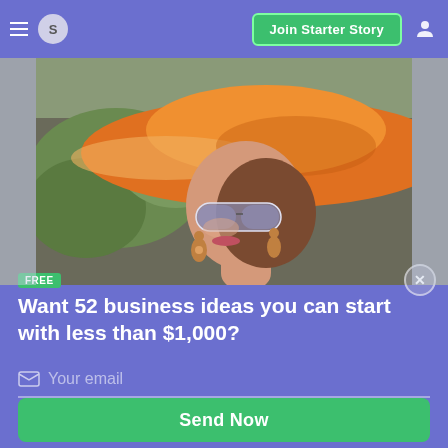S  Join Starter Story
[Figure (photo): Woman wearing an orange wide-brim hat and sunglasses, with decorative earrings, viewed from the side against a green foliage background]
FREE
Want 52 business ideas you can start with less than $1,000?
Your email
Send Now